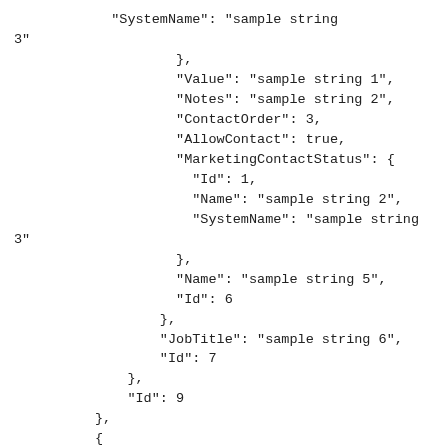"SystemName": "sample string
3"
                    },
                    "Value": "sample string 1",
                    "Notes": "sample string 2",
                    "ContactOrder": 3,
                    "AllowContact": true,
                    "MarketingContactStatus": {
                      "Id": 1,
                      "Name": "sample string 2",
                      "SystemName": "sample string
3"
                    },
                    "Name": "sample string 5",
                    "Id": 6
                  },
                  "JobTitle": "sample string 6",
                  "Id": 7
              },
              "Id": 9
          },
          {
            "Id": "sample string 1"